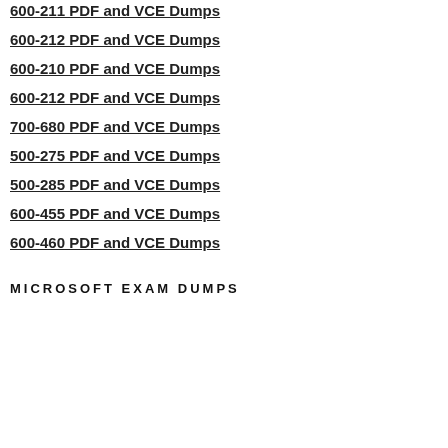600-211 PDF and VCE Dumps
600-212 PDF and VCE Dumps
600-210 PDF and VCE Dumps
600-212 PDF and VCE Dumps
700-680 PDF and VCE Dumps
500-275 PDF and VCE Dumps
500-285 PDF and VCE Dumps
600-455 PDF and VCE Dumps
600-460 PDF and VCE Dumps
MICROSOFT EXAM DUMPS